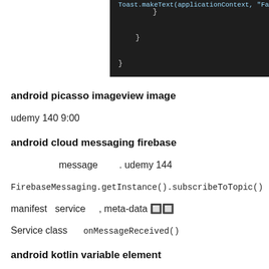[Figure (screenshot): Dark-themed code editor screenshot showing closing braces of a code block]
android picasso imageview image
udemy 140 9:00
android cloud messaging firebase
message . udemy 144
FirebaseMessaging.getInstance().subscribeToTopic()
manifest service , meta-data 🔲🔲
Service class onMessageReceived()
android kotlin variable element
) kotlin findById() element id .